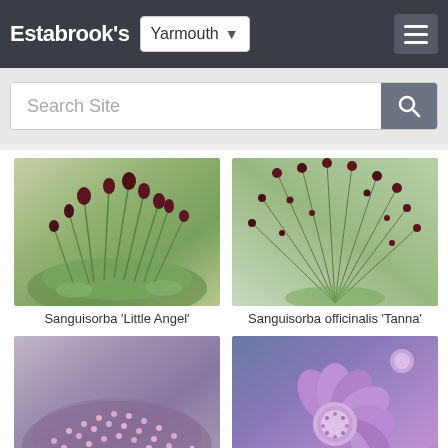Estabrook's — Yarmouth
Search Site
[Figure (photo): Sanguisorba 'Little Angel' plant with dark red ball-shaped flower heads on thin stems above green foliage]
Sanguisorba 'Little Angel'
[Figure (photo): Sanguisorba officinalis 'Tanna' plant with small dark red round flower heads on long thin wiry stems]
Sanguisorba officinalis 'Tanna'
[Figure (photo): Low mounding plant covered in small pink flowers, likely a thyme variety]
[Figure (photo): Close-up of a purple Scabiosa flower head with lavender petals and a rounded center]